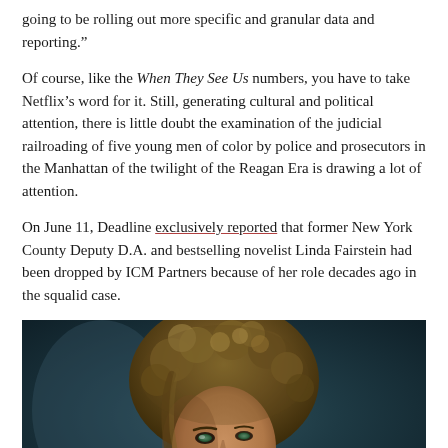going to be rolling out more specific and granular data and reporting.”
Of course, like the When They See Us numbers, you have to take Netflix’s word for it. Still, generating cultural and political attention, there is little doubt the examination of the judicial railroading of five young men of color by police and prosecutors in the Manhattan of the twilight of the Reagan Era is drawing a lot of attention.
On June 11, Deadline exclusively reported that former New York County Deputy D.A. and bestselling novelist Linda Fairstein had been dropped by ICM Partners because of her role decades ago in the squalid case.
[Figure (photo): A person with curly hair photographed against a dark teal/blue background, face partially visible, looking slightly upward.]